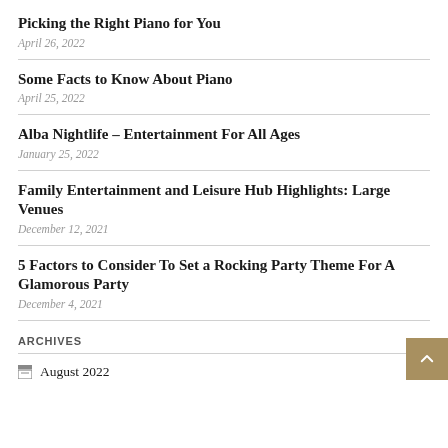Picking the Right Piano for You
April 26, 2022
Some Facts to Know About Piano
April 25, 2022
Alba Nightlife – Entertainment For All Ages
January 25, 2022
Family Entertainment and Leisure Hub Highlights: Large Venues
December 12, 2021
5 Factors to Consider To Set a Rocking Party Theme For A Glamorous Party
December 4, 2021
ARCHIVES
August 2022